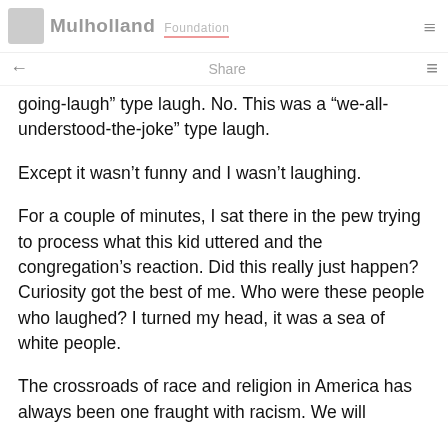Jean Trampauer Mulholland Foundation
going-laugh” type laugh. No. This was a “we-all-understood-the-joke” type laugh.
Except it wasn’t funny and I wasn’t laughing.
For a couple of minutes, I sat there in the pew trying to process what this kid uttered and the congregation’s reaction. Did this really just happen? Curiosity got the best of me. Who were these people who laughed? I turned my head, it was a sea of white people.
The crossroads of race and religion in America has always been one fraught with racism. We will